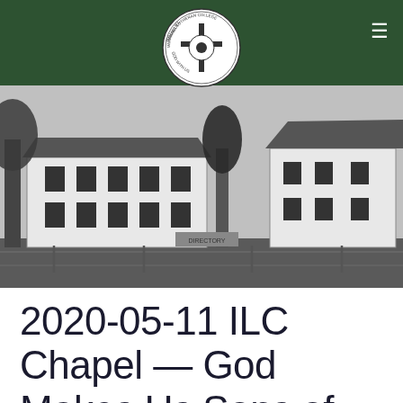Immanuel Lutheran College — God With Us
[Figure (photo): Black and white photograph of white colonial-style college buildings with trees in the foreground and a chain-link fence in the front.]
2020-05-11 ILC Chapel — God Makes Us Sons of